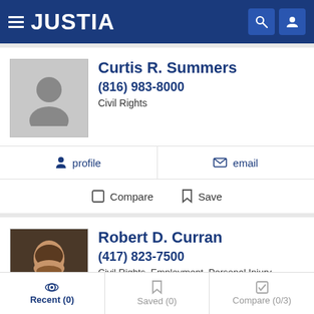JUSTIA
Curtis R. Summers
(816) 983-8000
Civil Rights
profile   email
Compare   Save
Robert D. Curran
(417) 823-7500
Civil Rights, Employment, Personal Injury and Workers' Co...
website   profile
Recent (0)   Saved (0)   Compare (0/3)